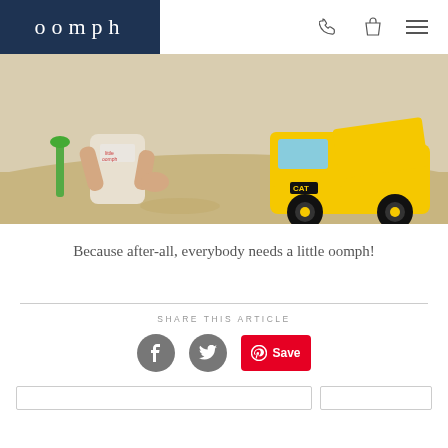oomph
[Figure (photo): Child sitting on sand playing with a yellow CAT dump truck and holding a green shovel, wearing a white shirt with 'oomph' text]
Because after-all, everybody needs a little oomph!
SHARE THIS ARTICLE
[Figure (infographic): Social sharing icons: Facebook circle, Twitter circle, and Pinterest Save button]